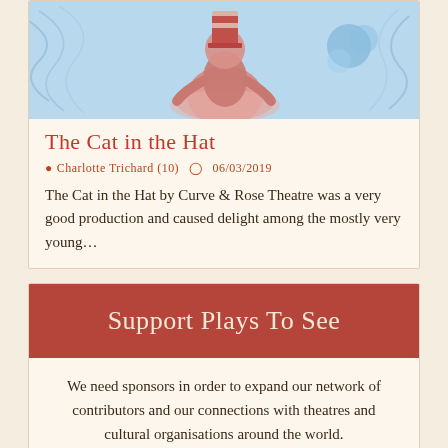[Figure (photo): Photo of The Cat in the Hat theatrical production — a figure in pink/red costume against a light blue background with swirling decorative elements]
The Cat in the Hat
Charlotte Trichard (10)  06/03/2019
The Cat in the Hat by Curve & Rose Theatre was a very good production and caused delight among the mostly very young...
Support Plays To See
We need sponsors in order to expand our network of contributors and our connections with theatres and cultural organisations around the world.
We are now able to accept credit/debit card donations directly from this site, with the security of PayPal. No sum is too small